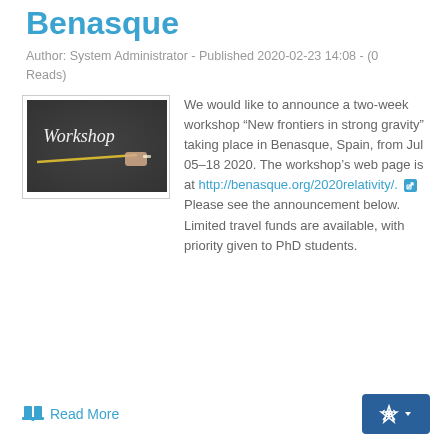Benasque
Author: System Administrator - Published 2020-02-23 14:08 - (0 Reads)
[Figure (photo): Chalkboard with the word 'Workshop' written in chalk with a hand holding chalk.]
We would like to announce a two-week workshop “New frontiers in strong gravity” taking place in Benasque, Spain, from Jul 05–18 2020. The workshop’s web page is at http://benasque.org/2020relativity/. Please see the announcement below. Limited travel funds are available, with priority given to PhD students.
Read More